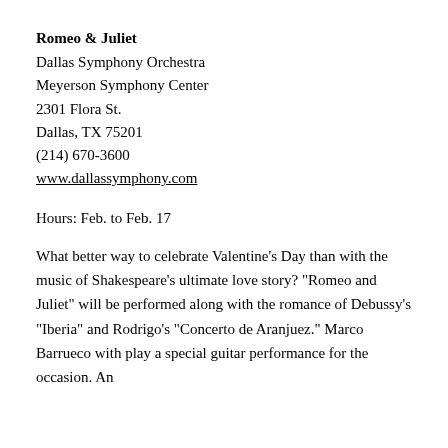Romeo & Juliet
Dallas Symphony Orchestra
Meyerson Symphony Center
2301 Flora St.
Dallas, TX 75201
(214) 670-3600
www.dallassymphony.com
Hours: Feb. to Feb. 17
What better way to celebrate Valentine's Day than with the music of Shakespeare's ultimate love story? "Romeo and Juliet" will be performed along with the romance of Debussy's "Iberia" and Rodrigo's "Concerto de Aranjuez." Marco Barrueco with play a special guitar performance for the occasion. An